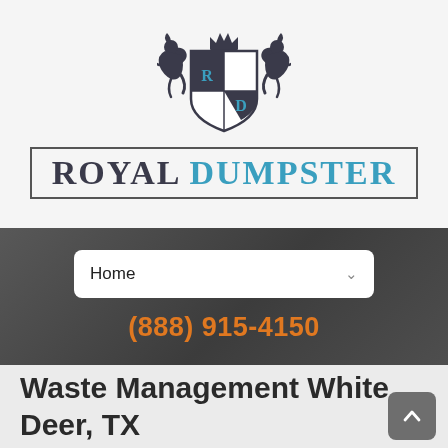[Figure (logo): Royal Dumpster logo with heraldic crest featuring two lions, a crown, and a shield with R and D letters, above text reading ROYAL DUMPSTER in a bordered box]
Home ∨
(888) 915-4150
Waste Management White Deer, TX